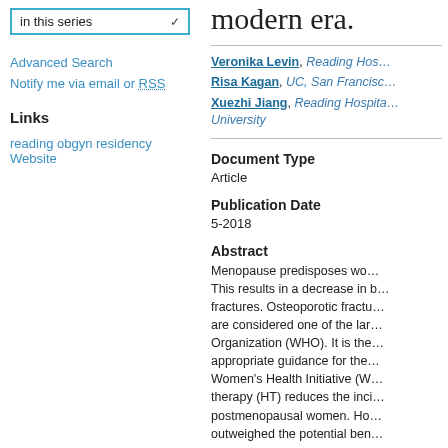in this series
Advanced Search
Notify me via email or RSS
Links
reading obgyn residency Website
modern era.
Veronika Levin, Reading Hos…
Risa Kagan, UC, San Francisc…
Xuezhi Jiang, Reading Hospita… University
Document Type
Article
Publication Date
5-2018
Abstract
Menopause predisposes wo… This results in a decrease in b… fractures. Osteoporotic fractu… are considered one of the lar… Organization (WHO). It is the… appropriate guidance for the… Women's Health Initiative (W… therapy (HT) reduces the inci… postmenopausal women. Ho… outweighed the potential ben…